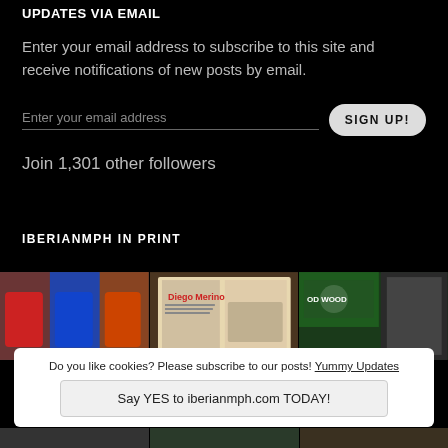UPDATES VIA EMAIL
Enter your email address to subscribe to this site and receive notifications of new posts by email.
Enter your email address
SIGN UP!
Join 1,301 other followers
IBERIANMPH IN PRINT
[Figure (photo): Three panel image strip showing racing drivers in team suits, a magazine spread with Diego Merino, and a Goodwood racing event photo]
Do you like cookies? Please subscribe to our posts! Yummy Updates
Say YES to iberianmph.com TODAY!
[Figure (photo): Bottom strip showing three smaller thumbnail images]